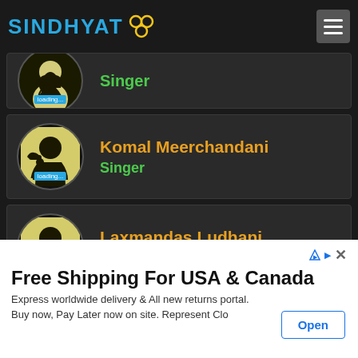SINDHYAT
[Figure (screenshot): Partial artist card at top, partially cropped, showing 'Singer' in green]
[Figure (screenshot): Artist card for Komal Meerchandani, Singer, with silhouette avatar and loading badge]
Komal Meerchandani
Singer
[Figure (screenshot): Artist card for Laxmandas Ludhani, Promoter Of Sindhyat, with silhouette avatar and loading badge]
Laxmandas Ludhani
Promoter Of Sindhyat
[Figure (screenshot): Partial artist card for Jatin Udasi, partially cropped at bottom]
Jatin Udasi
Free Shipping For USA & Canada
Express worldwide delivery & All new returns portal.
Buy now, Pay Later now on site. Represent Clo